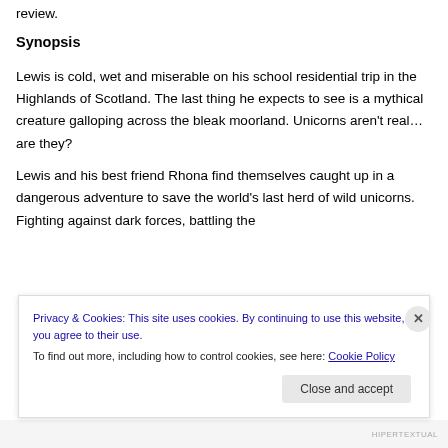review.
Synopsis
Lewis is cold, wet and miserable on his school residential trip in the Highlands of Scotland. The last thing he expects to see is a mythical creature galloping across the bleak moorland. Unicorns aren't real… are they?
Lewis and his best friend Rhona find themselves caught up in a dangerous adventure to save the world's last herd of wild unicorns. Fighting against dark forces, battling the
Privacy & Cookies: This site uses cookies. By continuing to use this website, you agree to their use.
To find out more, including how to control cookies, see here: Cookie Policy